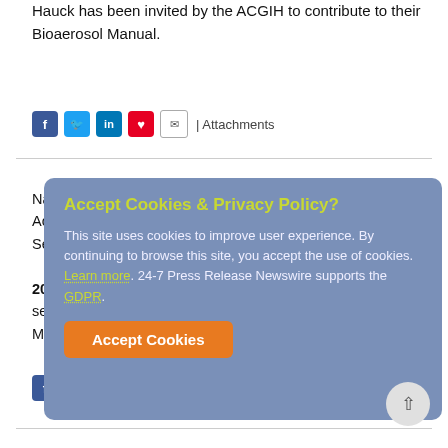Hauck has been invited by the ACGIH to contribute to their Bioaerosol Manual.
| Attachments
Natasha L. Walden, 1SG U.S. Army (Ret.), Acknowledged by Marquis Who's Who for Service to Veterans
2022-06-19 | A 25-year Army veteran, Ms. Walden serves as the outreach director of The Steven A. Cohen Military Family Clinic at Endeavors
| Attachments
Accept Cookies & Privacy Policy?
This site uses cookies to improve user experience. By continuing to browse this site, you accept the use of cookies. Learn more. 24-7 Press Release Newswire supports the GDPR.
Accept Cookies